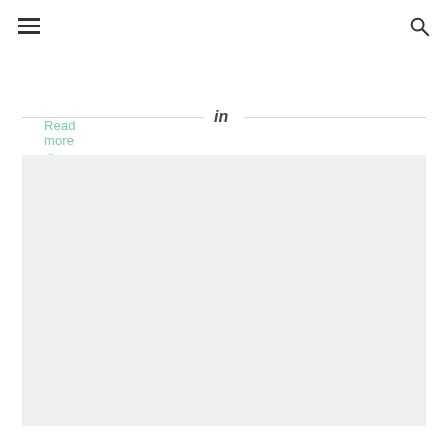Read more »
[Figure (other): LinkedIn divider with horizontal lines on left and right and LinkedIn 'in' icon in center]
[Figure (other): Large light gray placeholder box]